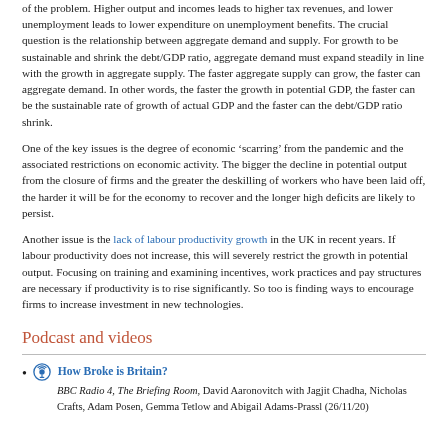of the problem. Higher output and incomes leads to higher tax revenues, and lower unemployment leads to lower expenditure on unemployment benefits. The crucial question is the relationship between aggregate demand and supply. For growth to be sustainable and shrink the debt/GDP ratio, aggregate demand must expand steadily in line with the growth in aggregate supply. The faster aggregate supply can grow, the faster can aggregate demand. In other words, the faster the growth in potential GDP, the faster can be the sustainable rate of growth of actual GDP and the faster can the debt/GDP ratio shrink.
One of the key issues is the degree of economic ‘scarring’ from the pandemic and the associated restrictions on economic activity. The bigger the decline in potential output from the closure of firms and the greater the deskilling of workers who have been laid off, the harder it will be for the economy to recover and the longer high deficits are likely to persist.
Another issue is the lack of labour productivity growth in the UK in recent years. If labour productivity does not increase, this will severely restrict the growth in potential output. Focusing on training and examining incentives, work practices and pay structures are necessary if productivity is to rise significantly. So too is finding ways to encourage firms to increase investment in new technologies.
Podcast and videos
How Broke is Britain? BBC Radio 4, The Briefing Room, David Aaronovitch with Jagjit Chadha, Nicholas Crafts, Adam Posen, Gemma Tetlow and Abigail Adams-Prassl (26/11/20)